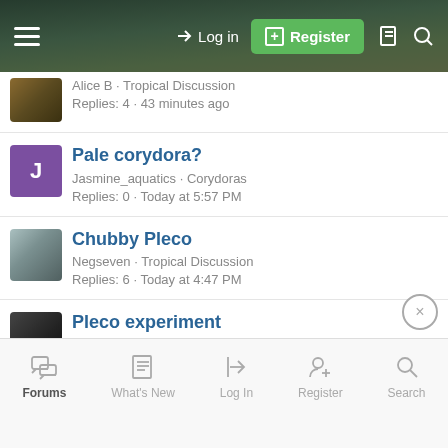≡  →) Log in   [+] Register  □  🔍
Alice B · Tropical Discussion
Replies: 4 · 43 minutes ago
Pale corydora?
Jasmine_aquatics · Corydoras
Replies: 0 · Today at 5:57 PM
Chubby Pleco
Negseven · Tropical Discussion
Replies: 6 · Today at 4:47 PM
Pleco experiment
Crabman69 · Algae Removal
Replies: 0 · Today at 1:49 PM
Forums   What's New   Log In   Register   Search